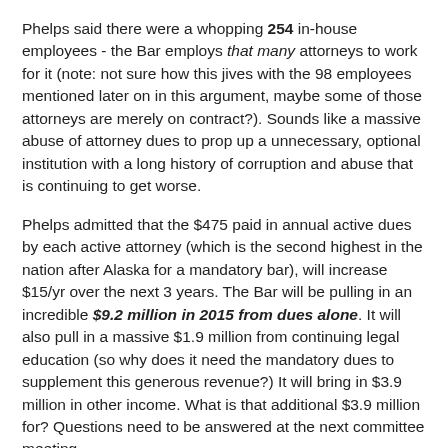Phelps said there were a whopping 254 in-house employees - the Bar employs that many attorneys to work for it (note: not sure how this jives with the 98 employees mentioned later on in this argument, maybe some of those attorneys are merely on contract?). Sounds like a massive abuse of attorney dues to prop up a unnecessary, optional institution with a long history of corruption and abuse that is continuing to get worse.
Phelps admitted that the $475 paid in annual active dues by each active attorney (which is the second highest in the nation after Alaska for a mandatory bar), will increase $15/yr over the next 3 years. The Bar will be pulling in an incredible $9.2 million in 2015 from dues alone. It will also pull in a massive $1.9 million from continuing legal education (so why does it need the mandatory dues to supplement this generous revenue?) It will bring in $3.9 million in other income. What is that additional $3.9 million for? Questions need to be answered at the next committee meeting.
Phelps admitted that 30 people - yeah, not 3, not 5, not even